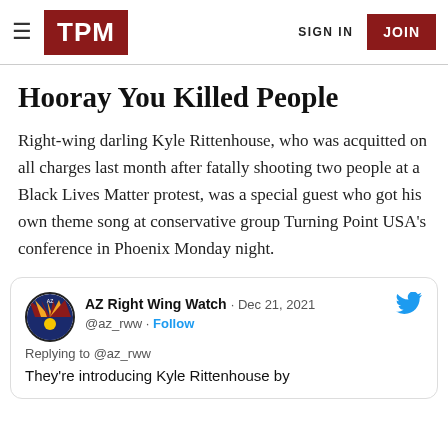TPM | SIGN IN | JOIN
Hooray You Killed People
Right-wing darling Kyle Rittenhouse, who was acquitted on all charges last month after fatally shooting two people at a Black Lives Matter protest, was a special guest who got his own theme song at conservative group Turning Point USA's conference in Phoenix Monday night.
AZ Right Wing Watch · Dec 21, 2021
@az_rww · Follow
Replying to @az_rww
They're introducing Kyle Rittenhouse by